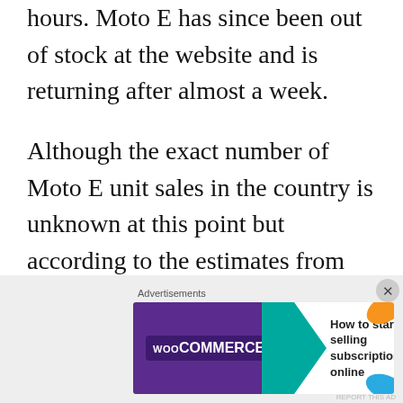hours. Moto E has since been out of stock at the website and is returning after almost a week.
Although the exact number of Moto E unit sales in the country is unknown at this point but according to the estimates from import data website Zauba.com, Flipkart has shipped over 1 lakh units of Moto E since the launch (over 50K as a part of the launch day sales and around the same number as the part of back-order sales). This is a pretty significant number for any
[Figure (other): WooCommerce advertisement banner: purple background with WooCommerce logo, teal arrow, white section with text 'How to start selling subscriptions online', and decorative orange/blue leaf shapes on the right.]
Advertisements